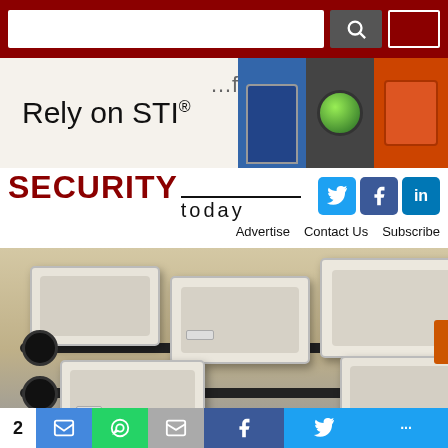Search bar and navigation header with dark red background
[Figure (screenshot): STI advertisement banner showing 'Rely on STI®' text with colored indicator lights (blue, green, orange)]
SECURITY today
Advertise   Contact Us   Subscribe
[Figure (photo): Airport security conveyor belt with multiple white plastic trays on metal rails]
2  [SMS] [WhatsApp] [Email] [Facebook] [Twitter] [more]